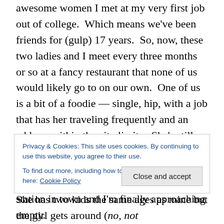awesome women I met at my very first job out of college. Which means we've been friends for (gulp) 17 years. So, now, these two ladies and I meet every three months or so at a fancy restaurant that none of us would likely go to on our own. One of us is a bit of a foodie — single, hip, with a job that has her traveling frequently and an address within the city limits. She's still cool. Another of us lives very close to the city, works for a university and has a husband who's involved in city politics. She has two kids the same ages as mine but the girl gets around (no, not like that). She is sta...
Privacy & Cookies: This site uses cookies. By continuing to use this website, you agree to their use. To find out more, including how to control cookies, see here: Cookie Policy
station in town and I'm finally approaching empty.